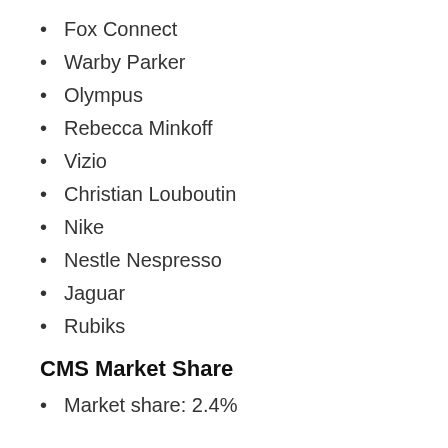Fox Connect
Warby Parker
Olympus
Rebecca Minkoff
Vizio
Christian Louboutin
Nike
Nestle Nespresso
Jaguar
Rubiks
CMS Market Share
Market share: 2.4%